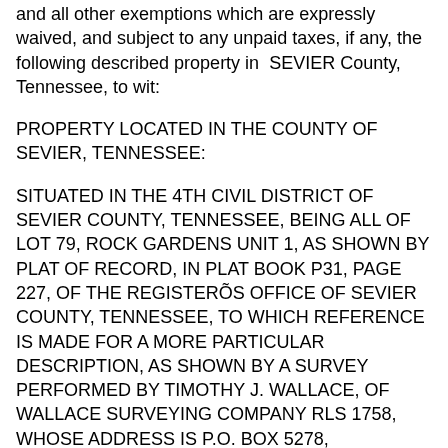and all other exemptions which are expressly waived, and subject to any unpaid taxes, if any, the following described property in SEVIER County, Tennessee, to wit:
PROPERTY LOCATED IN THE COUNTY OF SEVIER, TENNESSEE:
SITUATED IN THE 4TH CIVIL DISTRICT OF SEVIER COUNTY, TENNESSEE, BEING ALL OF LOT 79, ROCK GARDENS UNIT 1, AS SHOWN BY PLAT OF RECORD, IN PLAT BOOK P31, PAGE 227, OF THE REGISTERÕS OFFICE OF SEVIER COUNTY, TENNESSEE, TO WHICH REFERENCE IS MADE FOR A MORE PARTICULAR DESCRIPTION, AS SHOWN BY A SURVEY PERFORMED BY TIMOTHY J. WALLACE, OF WALLACE SURVEYING COMPANY RLS 1758, WHOSE ADDRESS IS P.O. BOX 5278, SEVIERVILLE, TN 37864, SURVEY DATED 10-19-2000, WSC DRAWING NO. 200384.